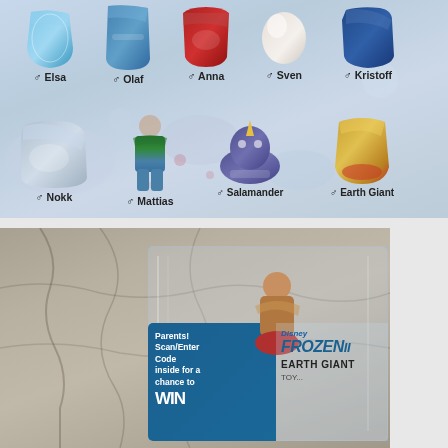[Figure (photo): Collection guide showing 9 Disney Frozen II toy figurines in two rows. Top row: Elsa (ice blue boot), Olaf (dark blue), Anna (red/crimson), Sven (white egg shape), Kristoff (dark blue boot). Bottom row: Nokk (blue/white), Mattias (green superhero figure), Salamander (purple unicorn), Earth Giant (gold/red). Each figurine is labeled with a gender symbol and name.]
[Figure (photo): Photograph of a Disney Frozen II Earth Giant toy figurine sealed in a plastic bag with packaging label. The blue label on the left reads 'Parents! Scan/Enter Code inside for a chance to WIN'. The right side of packaging shows 'FROZEN II' and 'EARTH GIANT' text with Disney branding.]